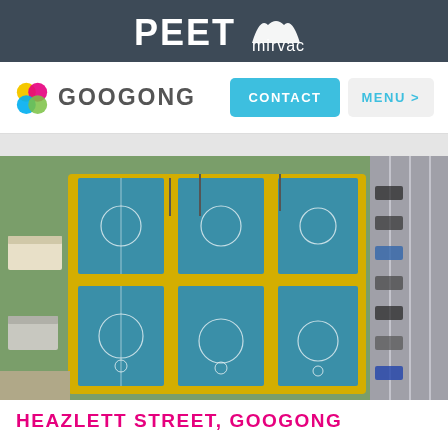PEET mirvac
[Figure (logo): GOOGONG brand logo with colorful circles icon]
[Figure (photo): Aerial view of sports courts (netball/basketball) with blue surfaces and yellow borders, green grass area with small building on left, parking lot on right]
HEAZLETT STREET, GOOGONG